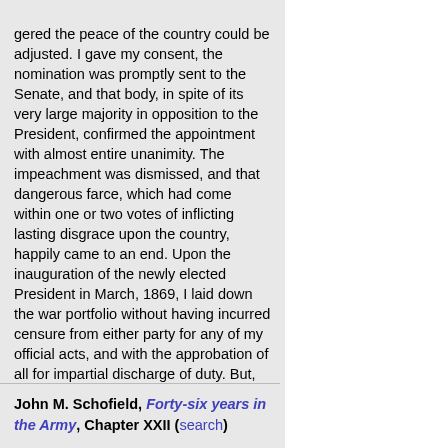gered the peace of the country could be adjusted. I gave my consent, the nomination was promptly sent to the Senate, and that body, in spite of its very large majority in opposition to the President, confirmed the appointment with almost entire unanimity. The impeachment was dismissed, and that dangerous farce, which had come within one or two votes of inflicting lasting disgrace upon the country, happily came to an end. Upon the inauguration of the newly elected President in March, 1869, I laid down the war portfolio without having incurred censure from either party for any of my official acts, and with the approbation of all for impartial discharge of duty. But, apparently lest such a thing might possibly happen again, Congress made haste to pass a law prohibiting any army officer from thereafter holding any civil office whatever! In 1895 that law was so modified as not to apply to officers on the retired list! It is a singular coincidence that I had just then been retired.
John M. Schofield, Forty-six years in the Army, Chapter XXII (search)